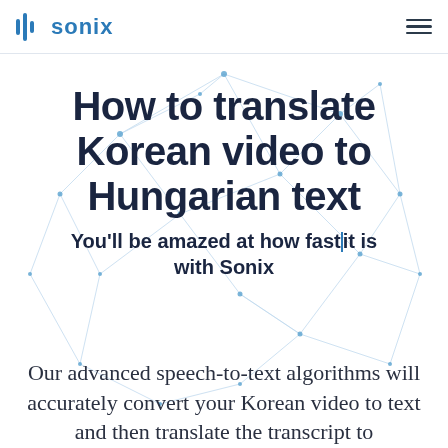sonix
How to translate Korean video to Hungarian text
You'll be amazed at how fast it is with Sonix
Our advanced speech-to-text algorithms will accurately convert your Korean video to text and then translate the transcript to